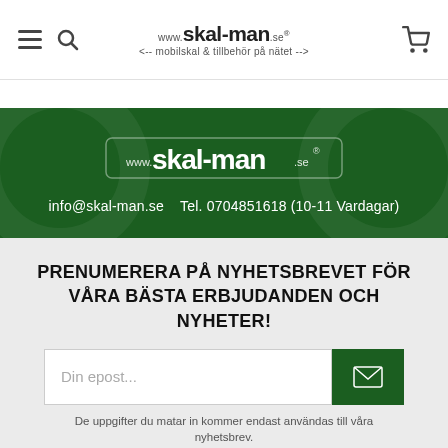www.skal-man.se <- mobilskal & tillbehör på nätet ->
[Figure (logo): Skal-man.se logo with tagline in green banner]
info@skal-man.se   Tel. 0704851618 (10-11 Vardagar)
PRENUMERERA PÅ NYHETSBREVET FÖR VÅRA BÄSTA ERBJUDANDEN OCH NYHETER!
Din epost...
De uppgifter du matar in kommer endast användas till våra nyhetsbrev.
VILLKOR
KONTAKTA OSS